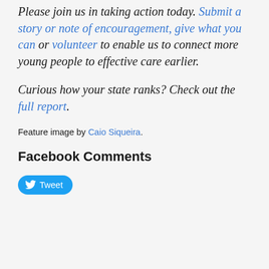Please join us in taking action today. Submit a story or note of encouragement, give what you can or volunteer to enable us to connect more young people to effective care earlier.
Curious how your state ranks? Check out the full report.
Feature image by Caio Siqueira.
Facebook Comments
Tweet